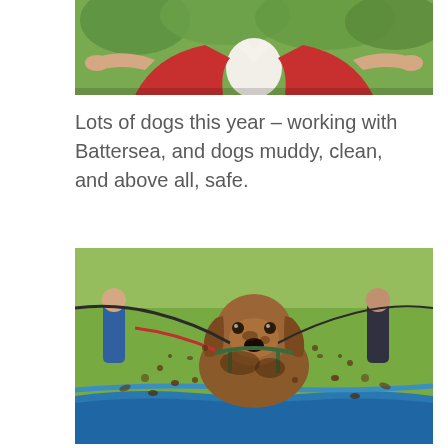[Figure (photo): Partial image of a person wearing a red blazer jacket with arms outstretched, with green trees in background. Photo is cropped showing torso and arms only.]
Lots of dogs this year – working with Battersea, and dogs muddy, clean, and above all, safe.
[Figure (photo): A muddy brown and white dog wearing a harness charging through a blue mud obstacle, with mud and water splashing everywhere. People and green parkland visible in the background.]